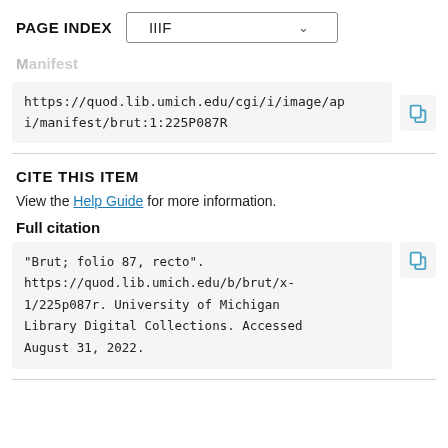PAGE INDEX
Manifest
https://quod.lib.umich.edu/cgi/i/image/api/manifest/brut:1:225P087R
CITE THIS ITEM
View the Help Guide for more information.
Full citation
"Brut; folio 87, recto". https://quod.lib.umich.edu/b/brut/x-1/225p087r. University of Michigan Library Digital Collections. Accessed August 31, 2022.